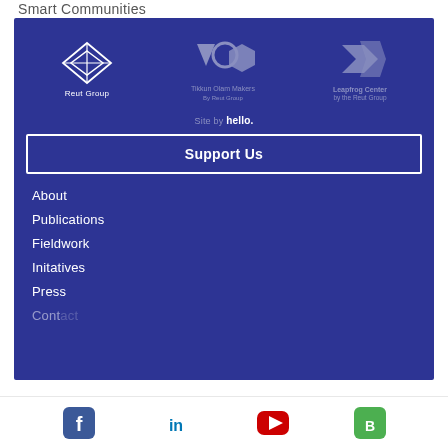Smart Communities
[Figure (logo): Reut Group logo - white diamond/octahedron wireframe shape with 'Reut Group' text below]
[Figure (logo): Tikkun Olam Makers By Reut Group logo - grey triangle, circle, hexagon shapes with text]
[Figure (logo): Leapfrog Center by the Reut Group logo - grey arrow/chevron shape with text]
Site by hello.
Support Us
About
Publications
Fieldwork
Initatives
Press
Contact
[Figure (logo): Social media icons: Facebook (blue), LinkedIn (blue), YouTube (red), Hootsuite/Buffer (green)]